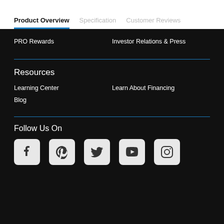Product Overview | Specification | Customer Reviews
PRO Rewards
Investor Relations & Press
Resources
Learning Center
Learn About Financing
Blog
Follow Us On
[Figure (other): Social media icons: Facebook, Pinterest, Twitter, YouTube, Instagram]